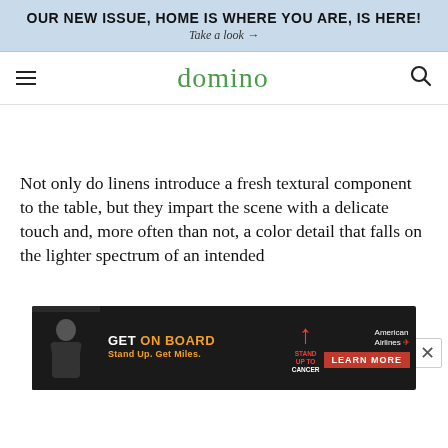OUR NEW ISSUE, HOME IS WHERE YOU ARE, IS HERE!
Take a look →
domino
Not only do linens introduce a fresh textural component to the table, but they impart the scene with a delicate touch and, more often than not, a color detail that falls on the lighter spectrum of an intended
[Figure (other): Advertisement banner: GET ON BOARD — Stand Up. Get Miles. American Airlines / Stand Up To Cancer — LEARN MORE]